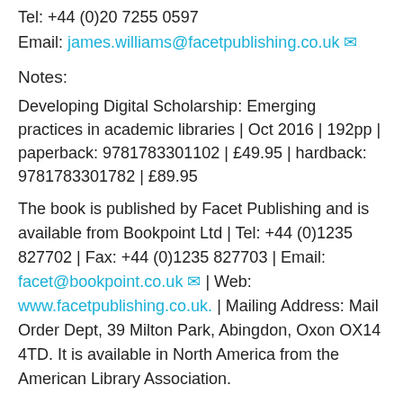Tel: +44 (0)20 7255 0597
Email: james.williams@facetpublishing.co.uk
Notes:
Developing Digital Scholarship: Emerging practices in academic libraries | Oct 2016 | 192pp | paperback: 9781783301102 | £49.95 | hardback: 9781783301782 | £89.95
The book is published by Facet Publishing and is available from Bookpoint Ltd | Tel: +44 (0)1235 827702 | Fax: +44 (0)1235 827703 | Email: facet@bookpoint.co.uk | Web: www.facetpublishing.co.uk. | Mailing Address: Mail Order Dept, 39 Milton Park, Abingdon, Oxon OX14 4TD. It is available in North America from the American Library Association.